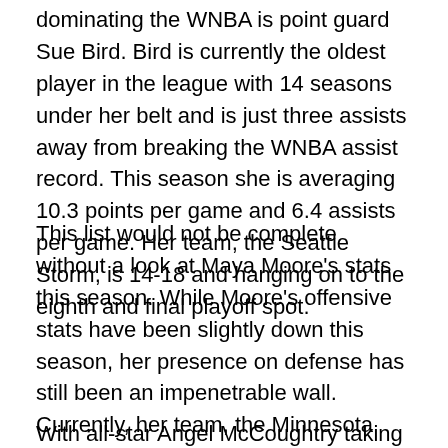dominating the WNBA is point guard Sue Bird. Bird is currently the oldest player in the league with 14 seasons under her belt and is just three assists away from breaking the WNBA assist record. This season she is averaging 10.3 points per game and 6.4 assists per game. Her team, the Seattle Storm, is 14-18 and hanging on to the eighth and final playoff spot.
This list would not be complete without a look at Maya Moore's stats this season. While Moore's offensive stats have been slightly down this season, her presence on defense has still been an impenetrable wall. Currently, her team, the Minnesota Lynx, is the number one overall team in the league. Moore is currently averaging 16.9 points per game, 5.2 rebounds per game and 3.4 assists per game.
With all-star Angel McCoughtry taking this WNBA season off,